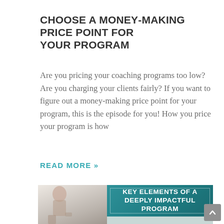CHOOSE A MONEY-MAKING PRICE POINT FOR YOUR PROGRAM
Are you pricing your coaching programs too low? Are you charging your clients fairly? If you want to figure out a money-making price point for your program, this is the episode for you! How you price your program is how
READ MORE »
[Figure (photo): Photo of a woman seated, alongside a teal overlay panel with text: KEY ELEMENTS OF A DEEPLY IMPACTFUL PROGRAM]